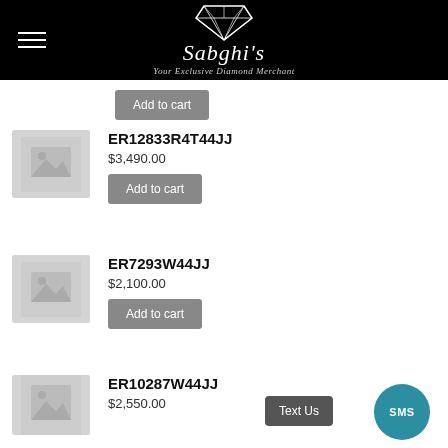[Figure (logo): Sabghi's diamond jewelry store logo with diamond shape graphic and tagline 'Your Exclusive Diamond Merchant' on black header background]
ER12833R4T44JJ
$3,490.00
Add to cart
ER7293W44JJ
$2,100.00
Add to cart
ER10287W44JJ
$2,550.00